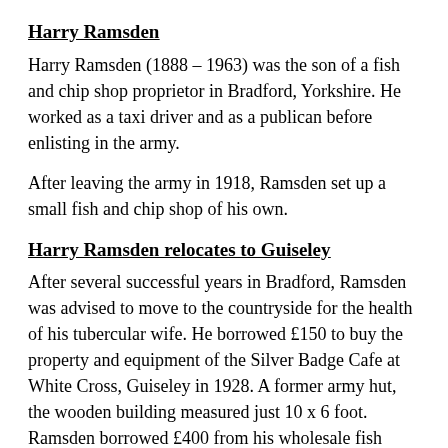Harry Ramsden
Harry Ramsden (1888 – 1963) was the son of a fish and chip shop proprietor in Bradford, Yorkshire. He worked as a taxi driver and as a publican before enlisting in the army.
After leaving the army in 1918, Ramsden set up a small fish and chip shop of his own.
Harry Ramsden relocates to Guiseley
After several successful years in Bradford, Ramsden was advised to move to the countryside for the health of his tubercular wife. He borrowed £150 to buy the property and equipment of the Silver Badge Cafe at White Cross, Guiseley in 1928. A former army hut, the wooden building measured just 10 x 6 foot. Ramsden borrowed £400 from his wholesale fish suppliers to buy the surrounding wasteland.